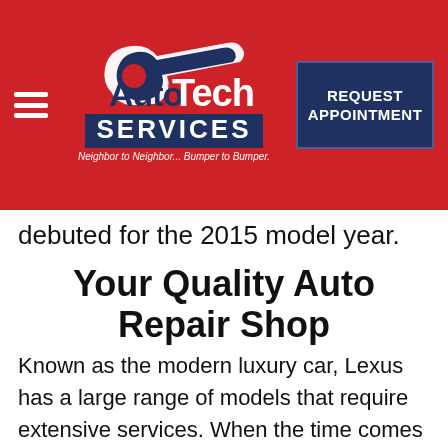[Figure (logo): Auto Tech Services logo with wrench graphic and tagline 'Neighbor to Neighbor... Bumper to Bumper.' on red background]
REQUEST APPOINTMENT
debuted for the 2015 model year.
Your Quality Auto Repair Shop
Known as the modern luxury car, Lexus has a large range of models that require extensive services. When the time comes to bring your Lexus in for repairs, Centralia and Rochester residents can come to Auto Tech Services of